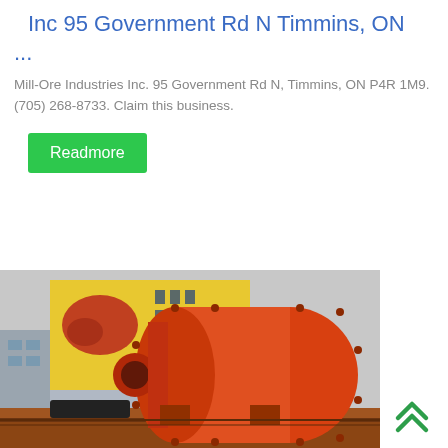Inc 95 Government Rd N Timmins, ON ...
Mill-Ore Industries Inc. 95 Government Rd N, Timmins, ON P4R 1M9. (705) 268-8733. Claim this business.
Readmore
[Figure (photo): Large orange industrial ball mill machine on a flatbed trailer, with a yellow billboard featuring industrial machinery logos and Chinese text visible in the background, along with a building.]